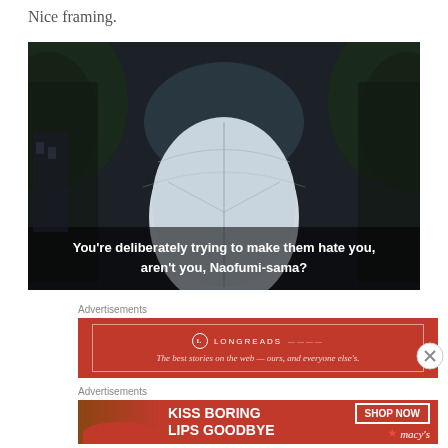Nice framing.
[Figure (screenshot): Anime screenshot with dark atmospheric background showing a shadowy corridor/street scene. White subtitle text reads: "You're deliberately trying to make them hate you, aren't you, Naofumi-sama?"]
Advertisements
[Figure (infographic): Longreads advertisement banner with red background. Logo and text: LONGREADS — The best stories on the web — ours, and everyone else's.]
Advertisements
[Figure (infographic): Macy's advertisement banner. Text: KISS BORING LIPS GOODBYE. Button: SHOP NOW. Macy's star logo.]